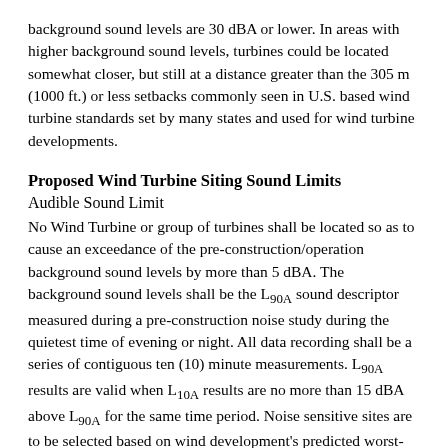background sound levels are 30 dBA or lower. In areas with higher background sound levels, turbines could be located somewhat closer, but still at a distance greater than the 305 m (1000 ft.) or less setbacks commonly seen in U.S. based wind turbine standards set by many states and used for wind turbine developments.
Proposed Wind Turbine Siting Sound Limits
Audible Sound Limit
No Wind Turbine or group of turbines shall be located so as to cause an exceedance of the pre-construction/operation background sound levels by more than 5 dBA. The background sound levels shall be the L90A sound descriptor measured during a pre-construction noise study during the quietest time of evening or night. All data recording shall be a series of contiguous ten (10) minute measurements. L90A results are valid when L10A results are no more than 15 dBA above L90A for the same time period. Noise sensitive sites are to be selected based on wind development's predicted worst-case sound emissions (in LeqA and LeqC) which are to be provided by the developer.